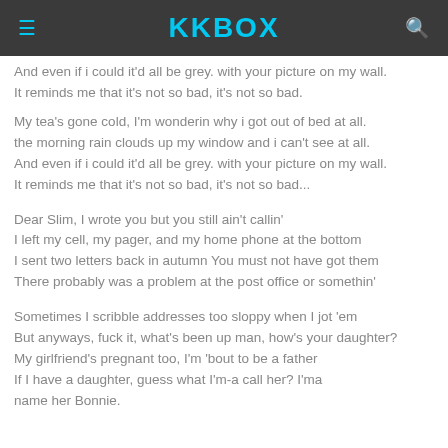KKBOX
And even if i could it'd all be grey. with your picture on my wall.
It reminds me that it's not so bad, it's not so bad.
My tea's gone cold, I'm wonderin why i got out of bed at all.
the morning rain clouds up my window and i can't see at all.
And even if i could it'd all be grey. with your picture on my wall.
It reminds me that it's not so bad, it's not so bad...
Dear Slim, I wrote you but you still ain't callin'
I left my cell, my pager, and my home phone at the bottom
I sent two letters back in autumn You must not have got them
There probably was a problem at the post office or somethin'
Sometimes I scribble addresses too sloppy when I jot 'em
But anyways, fuck it, what's been up man, how's your daughter?
My girlfriend's pregnant too, I'm 'bout to be a father
If I have a daughter, guess what I'm-a call her? I'ma
name her Bonnie.